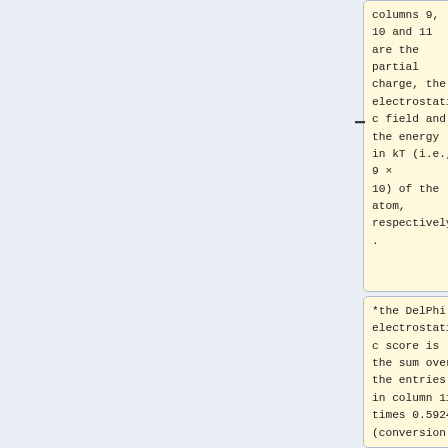columns 9, 10 and 11 are the partial charge, the electrostatic field and the energy in kT (i.e., 9 ×10) of the atom, respectively.
*the DelPhi electrostatic score is the sum over the entries in column 11 times 0.5924 (conversion...
===Atomic contributions to the van der Waals energy===